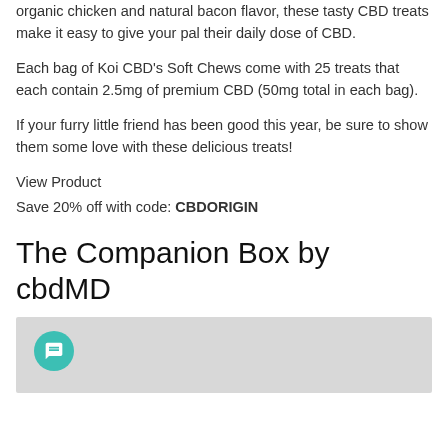organic chicken and natural bacon flavor, these tasty CBD treats make it easy to give your pal their daily dose of CBD.
Each bag of Koi CBD's Soft Chews come with 25 treats that each contain 2.5mg of premium CBD (50mg total in each bag).
If your furry little friend has been good this year, be sure to show them some love with these delicious treats!
View Product
Save 20% off with code: CBDORIGIN
The Companion Box by cbdMD
[Figure (photo): Gray placeholder image area with a teal chat bubble icon in the lower left corner]